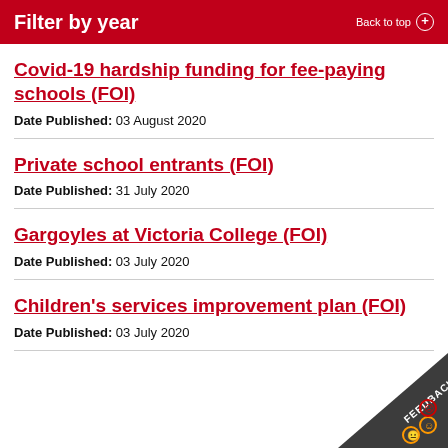Filter by year
Covid-19 hardship funding for fee-paying schools (FOI)
Date Published: 03 August 2020
Private school entrants (FOI)
Date Published: 31 July 2020
Gargoyles at Victoria College (FOI)
Date Published: 03 July 2020
Children's services improvement plan (FOI)
Date Published: 03 July 2020